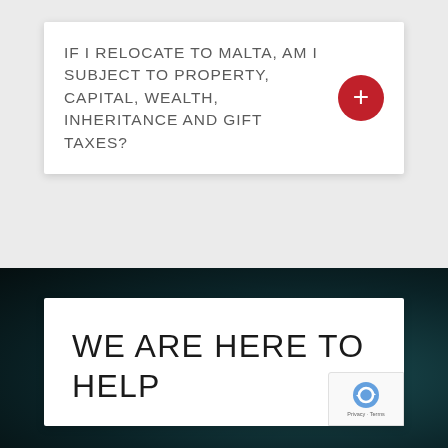IF I RELOCATE TO MALTA, AM I SUBJECT TO PROPERTY, CAPITAL, WEALTH, INHERITANCE AND GIFT TAXES?
WE ARE HERE TO HELP